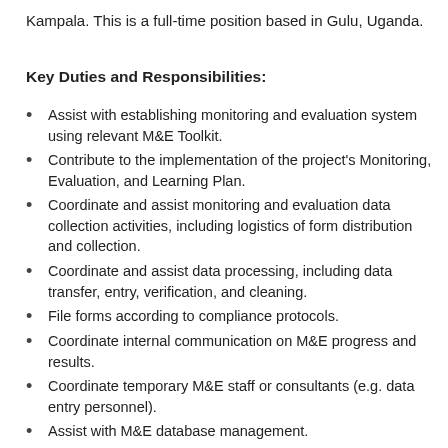Kampala. This is a full-time position based in Gulu, Uganda.
Key Duties and Responsibilities:
Assist with establishing monitoring and evaluation system using relevant M&E Toolkit.
Contribute to the implementation of the project's Monitoring, Evaluation, and Learning Plan.
Coordinate and assist monitoring and evaluation data collection activities, including logistics of form distribution and collection.
Coordinate and assist data processing, including data transfer, entry, verification, and cleaning.
File forms according to compliance protocols.
Coordinate internal communication on M&E progress and results.
Coordinate temporary M&E staff or consultants (e.g. data entry personnel).
Assist with M&E database management.
Provide other support to M&E team, as needed.
Work with government and non-government partners to implement M&E activities.